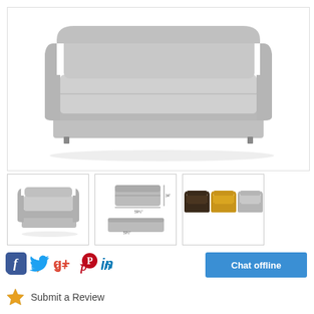[Figure (photo): Main product image of a light grey sofa bed (IKEA style), viewed from front-left angle. Sofa has a low-profile design with folded-out bed section visible, upholstered in light grey fabric, on a white background.]
[Figure (photo): Thumbnail 1: Side view of the same grey sofa bed, compact position.]
[Figure (photo): Thumbnail 2: Dimension diagram showing sofa bed from side with measurements indicated, two views (closed and open/bed position).]
[Figure (photo): Thumbnail 3: Three color variants of the sofa bed shown side by side: dark brown/black, mustard yellow, and light grey.]
f  Twitter  g+  Pinterest  in
Chat offline
Submit a Review